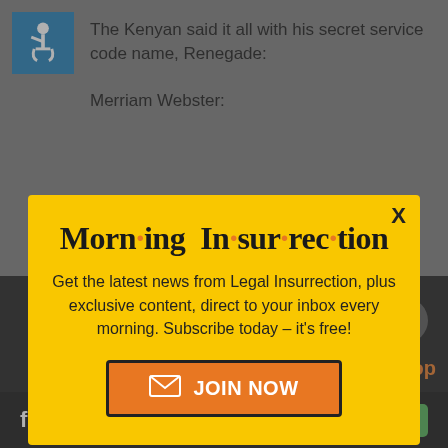[Figure (screenshot): Accessibility icon (wheelchair user) on blue background, top-left corner]
The Kenyan said it all with his secret service code name, Renegade:
Merriam Webster:
[Figure (infographic): Morning Insurrection newsletter popup modal with yellow background. Title: 'Morn·ing In·sur·rec·tion'. Body: 'Get the latest news from Legal Insurrection, plus exclusive content, direct to your inbox every morning. Subscribe today – it's free!' Join Now button with envelope icon. X close button top-right.]
renegade adjective
Definition of renegade (Entry 3 of 3)
religion for a hostile one
[Figure (logo): Fiverr logo with Start Now green button on black bar at bottom]